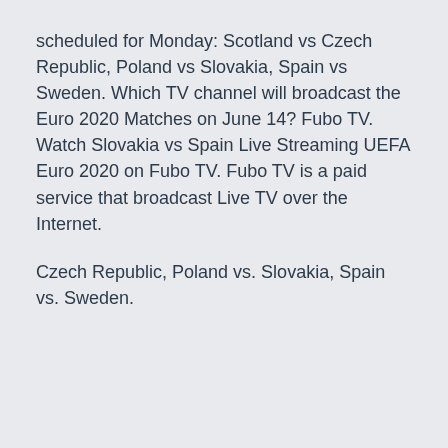scheduled for Monday: Scotland vs Czech Republic, Poland vs Slovakia, Spain vs Sweden. Which TV channel will broadcast the Euro 2020 Matches on June 14? Fubo TV. Watch Slovakia vs Spain Live Streaming UEFA Euro 2020 on Fubo TV. Fubo TV is a paid service that broadcast Live TV over the Internet.
Czech Republic, Poland vs. Slovakia, Spain vs. Sweden.